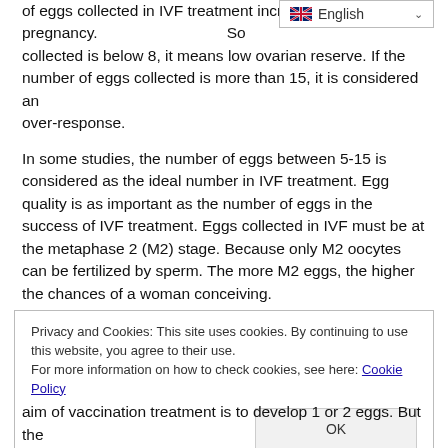of eggs collected in IVF treatment increases the chance of pregnancy. So collected is below 8, it means low ovarian reserve. If the number of eggs collected is more than 15, it is considered an over-response.
In some studies, the number of eggs between 5-15 is considered as the ideal number in IVF treatment. Egg quality is as important as the number of eggs in the success of IVF treatment. Eggs collected in IVF must be at the metaphase 2 (M2) stage. Because only M2 oocytes can be fertilized by sperm. The more M2 eggs, the higher the chances of a woman conceiving.
Privacy and Cookies: This site uses cookies. By continuing to use this website, you agree to their use.
For more information on how to check cookies, see here: Cookie Policy
aim of vaccination treatment is to develop 1 or 2 eggs. But the